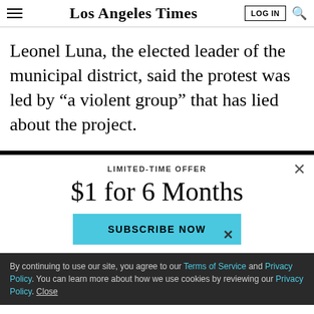Los Angeles Times
Leonel Luna, the elected leader of the municipal district, said the protest was led by “a violent group” that has lied about the project.
LIMITED-TIME OFFER
$1 for 6 Months
SUBSCRIBE NOW
By continuing to use our site, you agree to our Terms of Service and Privacy Policy. You can learn more about how we use cookies by reviewing our Privacy Policy. Close